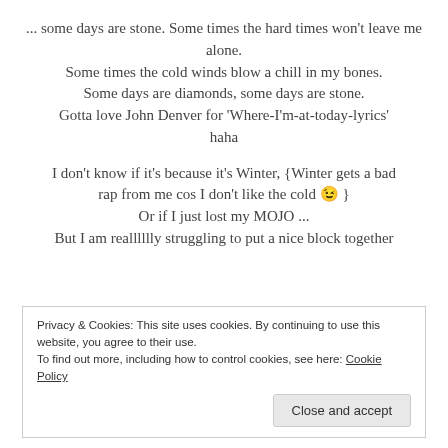... some days are stone. Some times the hard times won't leave me alone.
Some times the cold winds blow a chill in my bones.
Some days are diamonds, some days are stone.
Gotta love John Denver for 'Where-I'm-at-today-lyrics' haha
I don't know if it's because it's Winter, {Winter gets a bad rap from me cos I don't like the cold 😉 }
Or if I just lost my MOJO ...
But I am realllllly struggling to put a nice block together
Privacy & Cookies: This site uses cookies. By continuing to use this website, you agree to their use.
To find out more, including how to control cookies, see here: Cookie Policy
Close and accept